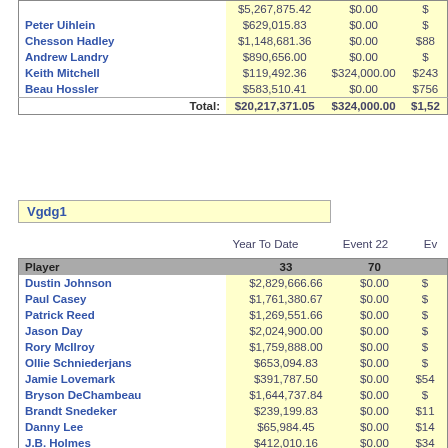| Player | Year To Date | Event 22 | Ev... |
| --- | --- | --- | --- |
|  | $5,267,875.42 | $0.00 | $... |
| Peter Uihlein | $629,015.83 | $0.00 | $... |
| Chesson Hadley | $1,148,681.36 | $0.00 | $88... |
| Andrew Landry | $890,656.00 | $0.00 | $... |
| Keith Mitchell | $119,492.36 | $324,000.00 | $243... |
| Beau Hossler | $583,510.41 | $0.00 | $756... |
| Total: | $20,217,371.05 | $324,000.00 | $1,52... |
Vgdg1
| Player | Year To Date | Event 22 | Ev... |
| --- | --- | --- | --- |
| Player | 33 | 70 |  |
| Dustin Johnson | $2,829,666.66 | $0.00 | $... |
| Paul Casey | $1,761,380.67 | $0.00 | $... |
| Patrick Reed | $1,269,551.66 | $0.00 | $... |
| Jason Day | $2,024,900.00 | $0.00 | $... |
| Rory McIlroy | $1,759,888.00 | $0.00 | $... |
| Ollie Schniederjans | $653,094.83 | $0.00 | $... |
| Jamie Lovemark | $391,787.50 | $0.00 | $54... |
| Bryson DeChambeau | $1,644,737.84 | $0.00 | $... |
| Brandt Snedeker | $239,199.83 | $0.00 | $11... |
| Danny Lee | $65,984.45 | $0.00 | $14... |
| J.B. Holmes | $412,010.16 | $0.00 | $34... |
| C.T. Pan | $294,124.72 | $0.00 | $... |